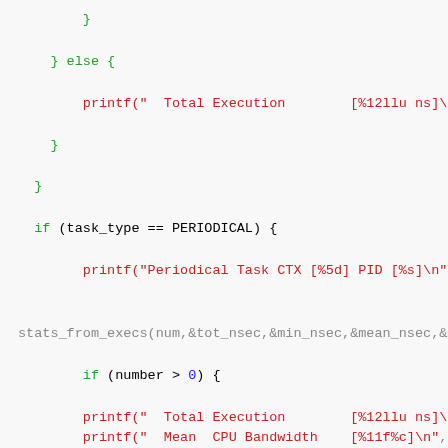Code snippet showing C printf statements with conditional logic for task execution statistics including Total Execution, Periodical Task CTX, and Mean CPU Bandwidth.